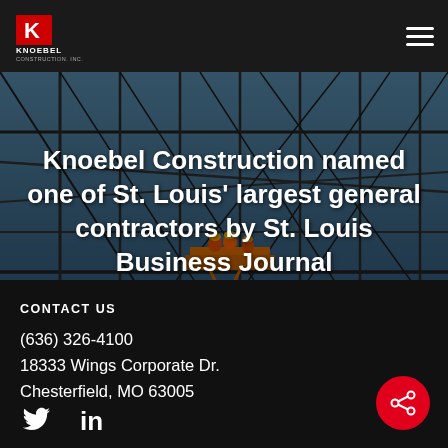Knoebel Construction
Knoebel Construction named one of St. Louis' largest general contractors by St. Louis Business Journal
[Figure (photo): Construction site interior showing steel scaffolding and framework with workers on an elevated platform, wide-angle industrial photo used as hero background image]
CONTACT US
(636) 326-4100
18333 Wings Corporate Dr.
Chesterfield, MO 63005
[Figure (infographic): Twitter bird icon and LinkedIn 'in' icon in white, social media links row at the bottom of the page]
[Figure (infographic): Red circular share button with share/network icon in white]